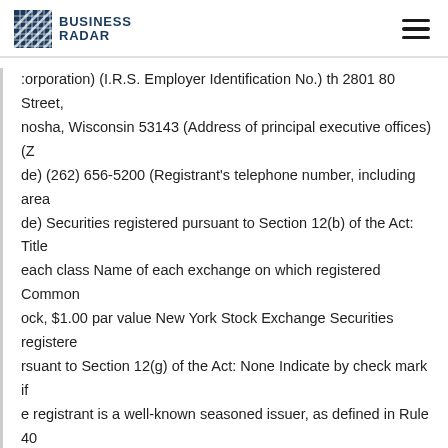BUSINESS RADAR
corporation) (I.R.S. Employer Identification No.) th 2801 80 Street, nosha, Wisconsin 53143 (Address of principal executive offices) (Z de) (262) 656-5200 (Registrant's telephone number, including area de) Securities registered pursuant to Section 12(b) of the Act: Title each class Name of each exchange on which registered Common ock, $1.00 par value New York Stock Exchange Securities registere rsuant to Section 12(g) of the Act: None Indicate by check mark if e registrant is a well-known seasoned issuer, as defined in Rule 40 the Securities Act. Yes No Indicate by check mark if the registrant t required to file reports pursuant to Section 13 or 15(d) of the Ac s No Indicate by check mark whether the registrant (1) has filed a orts required to be filed by Section 13 or 15(d) of the Securities hange Act of 1934 during the preceding 12 months (or for such orter period that the registrant was required to file such reports), d (2) has been subject to such filing requirements for the past 90 ys. Yes No Indicate by check mark whether the registrant has bmitted electronically and posted on its corporate Website if